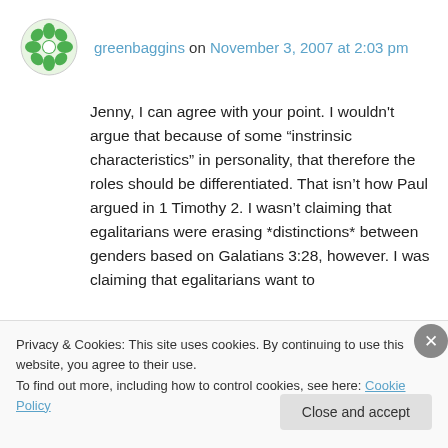greenbaggins on November 3, 2007 at 2:03 pm
Jenny, I can agree with your point. I wouldn't argue that because of some “instrinsic characteristics” in personality, that therefore the roles should be differentiated. That isn’t how Paul argued in 1 Timothy 2. I wasn’t claiming that egalitarians were erasing *distinctions* between genders based on Galatians 3:28, however. I was claiming that egalitarians want to
Privacy & Cookies: This site uses cookies. By continuing to use this website, you agree to their use.
To find out more, including how to control cookies, see here: Cookie Policy
Close and accept